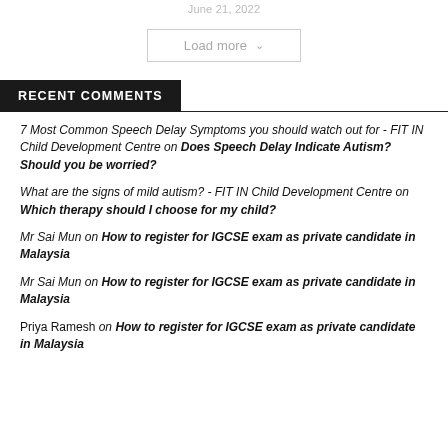June 21, 2022
Load more ▾
RECENT COMMENTS
7 Most Common Speech Delay Symptoms you should watch out for - FIT IN Child Development Centre on Does Speech Delay Indicate Autism? Should you be worried?
What are the signs of mild autism? - FIT IN Child Development Centre on Which therapy should I choose for my child?
Mr Sai Mun on How to register for IGCSE exam as private candidate in Malaysia
Mr Sai Mun on How to register for IGCSE exam as private candidate in Malaysia
Priya Ramesh on How to register for IGCSE exam as private candidate in Malaysia